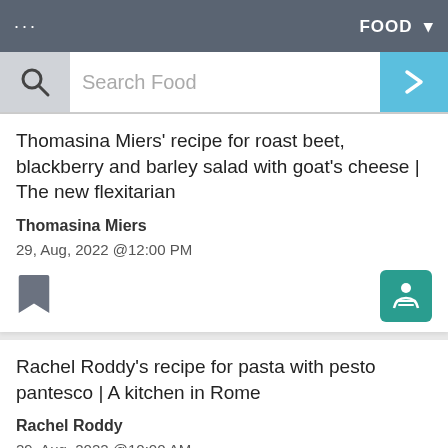... FOOD
Search Food
Thomasina Miers' recipe for roast beet, blackberry and barley salad with goat's cheese | The new flexitarian
Thomasina Miers
29, Aug, 2022 @12:00 PM
Rachel Roddy's recipe for pasta with pesto pantesco | A kitchen in Rome
Rachel Roddy
29, Aug, 2022 @10:00 AM